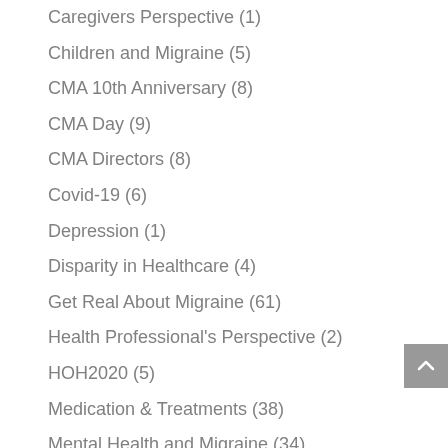Caregivers Perspective (1)
Children and Migraine (5)
CMA 10th Anniversary (8)
CMA Day (9)
CMA Directors (8)
Covid-19 (6)
Depression (1)
Disparity in Healthcare (4)
Get Real About Migraine (61)
Health Professional's Perspective (2)
HOH2020 (5)
Medication & Treatments (38)
Mental Health and Migraine (34)
MHAM2020 (17)
MHAM2021 (2)